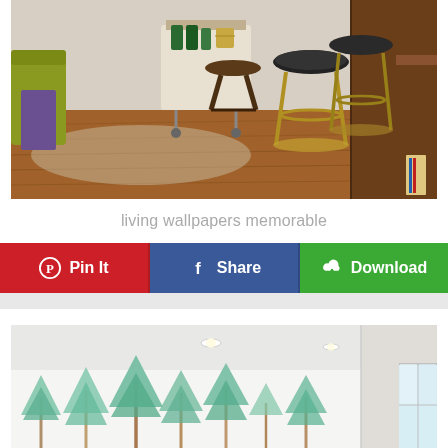[Figure (photo): Interior living room photo showing hardwood floors, bar stools with metal frames, a rolling bar cart in the background, and a yellow/green chair on the left side]
living wallpapers memorable
[Figure (infographic): Three social sharing buttons: red Pinterest 'Pin It' button, blue Facebook 'Share' button, and green 'Download' button with cloud icon]
[Figure (photo): Interior room photo showing a wall mural with watercolor-style teal/mint pine trees, white ceiling with recessed lighting, and a window on the right]